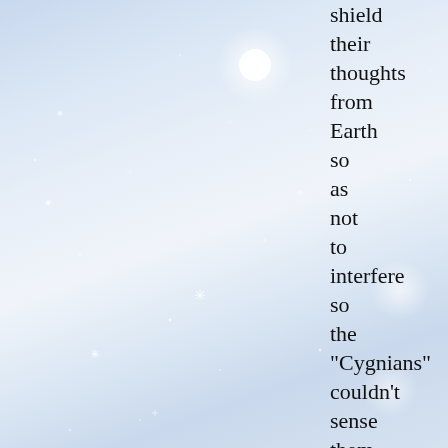shield their thoughts from Earth so as not to interfere so the "Cygnians" couldn't sense them.
Billy is told to make himself